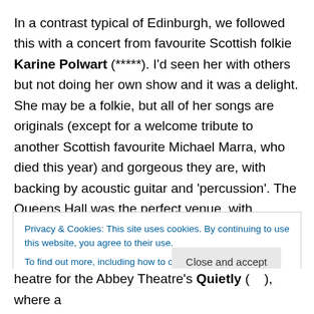In a contrast typical of Edinburgh, we followed this with a concert from favourite Scottish folkie Karine Polwart (*****). I'd seen her with others but not doing her own show and it was a delight. She may be a folkie, but all of her songs are originals (except for a welcome tribute to another Scottish favourite Michael Marra, who died this year) and gorgeous they are, with backing by acoustic guitar and 'percussion'. The Queens Hall was the perfect venue, with acoustics and atmosphere worthy of her talents.
Privacy & Cookies: This site uses cookies. By continuing to use this website, you agree to their use. To find out more, including how to control cookies, see here: Cookie Policy
heatre for the Abbey Theatre's Quietly (   ), where a